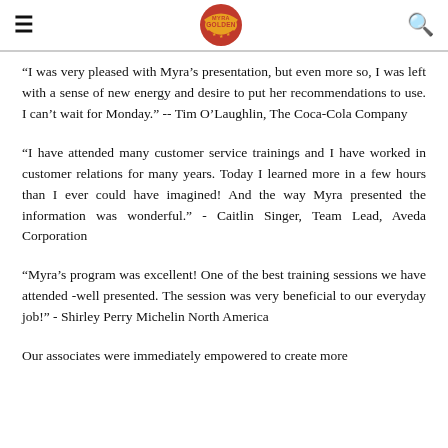Myra Golden [logo] [hamburger menu] [search icon]
“I was very pleased with Myra’s presentation, but even more so, I was left with a sense of new energy and desire to put her recommendations to use. I can’t wait for Monday.” -- Tim O’Laughlin, The Coca-Cola Company
“I have attended many customer service trainings and I have worked in customer relations for many years. Today I learned more in a few hours than I ever could have imagined! And the way Myra presented the information was wonderful.” - Caitlin Singer, Team Lead, Aveda Corporation
“Myra’s program was excellent! One of the best training sessions we have attended -well presented. The session was very beneficial to our everyday job!” - Shirley Perry Michelin North America
Our associates were immediately empowered to create more